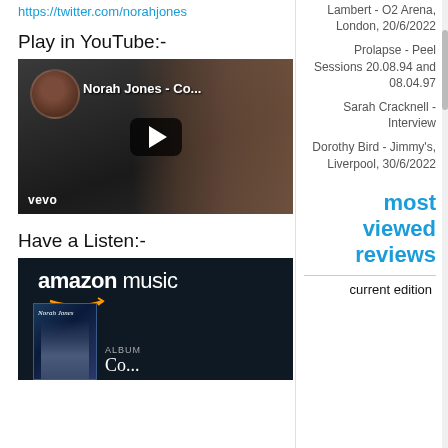https://twitter.com/norahjones
Play in YouTube:-
[Figure (screenshot): YouTube embed showing Norah Jones video thumbnail with play button and vevo watermark]
Have a Listen:-
[Figure (screenshot): Amazon Music embed showing Norah Jones album Co... with album cover]
Lambert - O2 Arena, London, 20/6/2022
Prolapse - Peel Sessions 20.08.94 and 08.04.97
Sarah Cracknell - Interview
Dorothy Bird - Jimmy's, Liverpool, 30/6/2022
most viewed reviews
current edition